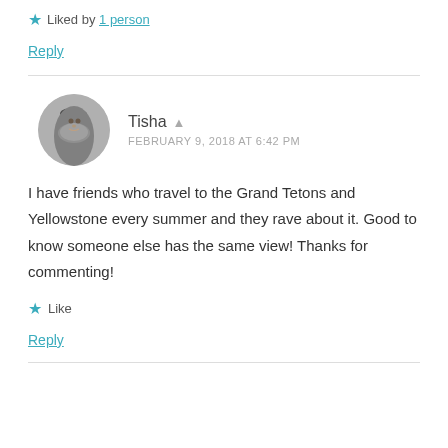★ Liked by 1 person
Reply
Tisha  FEBRUARY 9, 2018 AT 6:42 PM
I have friends who travel to the Grand Tetons and Yellowstone every summer and they rave about it. Good to know someone else has the same view! Thanks for commenting!
★ Like
Reply